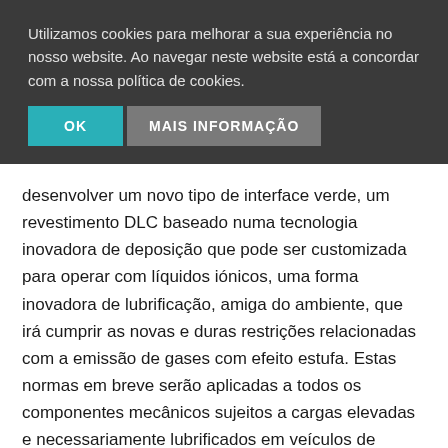Utilizamos cookies para melhorar a sua experiência no nosso website. Ao navegar neste website está a concordar com a nossa política de cookies.
desenvolver um novo tipo de interface verde, um revestimento DLC baseado numa tecnologia inovadora de deposição que pode ser customizada para operar com líquidos iónicos, uma forma inovadora de lubrificação, amiga do ambiente, que irá cumprir as novas e duras restrições relacionadas com a emissão de gases com efeito estufa. Estas normas em breve serão aplicadas a todos os componentes mecânicos sujeitos a cargas elevadas e necessariamente lubrificados em veículos de transporte e sistemas industriais. De fato, a legislação atual em matéria de emissões da ONU, UE e nacional já restringe o uso de alguns dos principais lubrificantes de hoje, para os quais ainda não há alternativas aceitáveis disponíveis sem perda de eficiência.